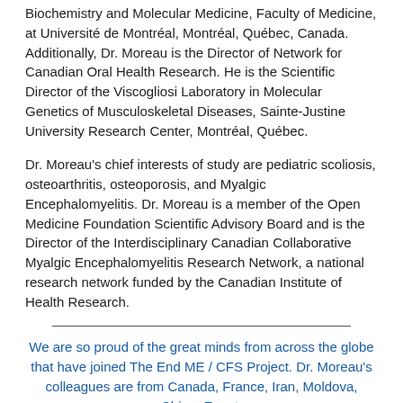Biochemistry and Molecular Medicine, Faculty of Medicine, at Université de Montréal, Montréal, Québec, Canada. Additionally, Dr. Moreau is the Director of Network for Canadian Oral Health Research. He is the Scientific Director of the Viscogliosi Laboratory in Molecular Genetics of Musculoskeletal Diseases, Sainte-Justine University Research Center, Montréal, Québec.
Dr. Moreau's chief interests of study are pediatric scoliosis, osteoarthritis, osteoporosis, and Myalgic Encephalomyelitis. Dr. Moreau is a member of the Open Medicine Foundation Scientific Advisory Board and is the Director of the Interdisciplinary Canadian Collaborative Myalgic Encephalomyelitis Research Network, a national research network funded by the Canadian Institute of Health Research.
We are so proud of the great minds from across the globe that have joined The End ME / CFS Project. Dr. Moreau's colleagues are from Canada, France, Iran, Moldova, China, Egypt,